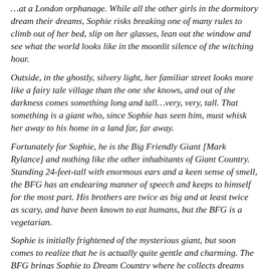…at a London orphanage. While all the other girls in the dormitory dream their dreams, Sophie risks breaking one of many rules to climb out of her bed, slip on her glasses, lean out the window and see what the world looks like in the moonlit silence of the witching hour.
Outside, in the ghostly, silvery light, her familiar street looks more like a fairy tale village than the one she knows, and out of the darkness comes something long and tall…very, very, tall. That something is a giant who, since Sophie has seen him, must whisk her away to his home in a land far, far away.
Fortunately for Sophie, he is the Big Friendly Giant [Mark Rylance] and nothing like the other inhabitants of Giant Country. Standing 24-feet-tall with enormous ears and a keen sense of smell, the BFG has an endearing manner of speech and keeps to himself for the most part. His brothers are twice as big and at least twice as scary, and have been known to eat humans, but the BFG is a vegetarian.
Sophie is initially frightened of the mysterious giant, but soon comes to realize that he is actually quite gentle and charming. The BFG brings Sophie to Dream Country where he collects dreams and sends them to children, teaching her all about the magic and mystery of dreams.
Having both been on their own in the world up until now, an unexpected friendship blossoms, but the other giants have become increasingly more bothersome. Sophie and the BFG soon depart for London to see the Queen [Penelope Wilton] and warn her of the